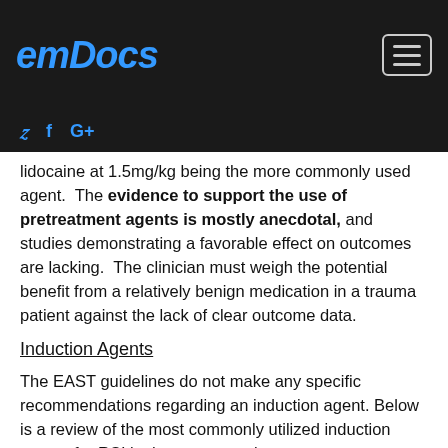emDocs
lidocaine at 1.5mg/kg being the more commonly used agent.  The evidence to support the use of pretreatment agents is mostly anecdotal, and studies demonstrating a favorable effect on outcomes are lacking.  The clinician must weigh the potential benefit from a relatively benign medication in a trauma patient against the lack of clear outcome data.
Induction Agents
The EAST guidelines do not make any specific recommendations regarding an induction agent. Below is a review of the most commonly utilized induction agents for RSI in the trauma patient.